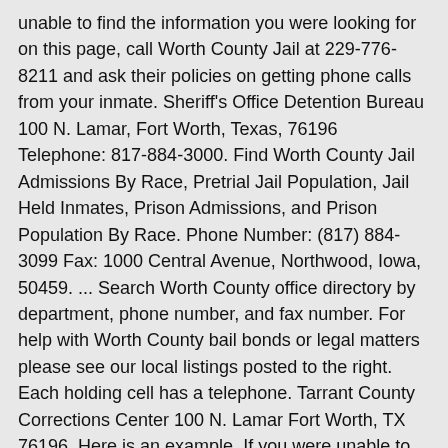unable to find the information you were looking for on this page, call Worth County Jail at 229-776-8211 and ask their policies on getting phone calls from your inmate. Sheriff's Office Detention Bureau 100 N. Lamar, Fort Worth, Texas, 76196 Telephone: 817-884-3000. Find Worth County Jail Admissions By Race, Pretrial Jail Population, Jail Held Inmates, Prison Admissions, and Prison Population By Race. Phone Number: (817) 884-3099 Fax: 1000 Central Avenue, Northwood, Iowa, 50459. ... Search Worth County office directory by department, phone number, and fax number. For help with Worth County bail bonds or legal matters please see our local listings posted to the right. Each holding cell has a telephone. Tarrant County Corrections Center 100 N. Lamar Fort Worth, TX 76196. Here is an example. If you were unable to find the information you were looking for on this page, call Worth County Jail at 641-324-2481 and ask their policies on getting phone calls from your inmate. Worth County Jail Demographics The county has 20,708 people confined with a jail population density of 23 prisoners per jail. When breaking down the WORTH County jail population by gender, females are a minority